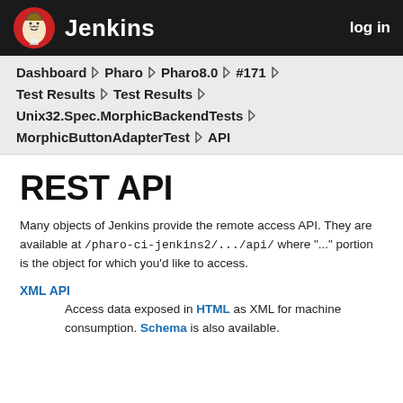Jenkins   log in
Dashboard ▶ Pharo ▶ Pharo8.0 ▶ #171 ▶
Test Results ▶ Test Results ▶
Unix32.Spec.MorphicBackendTests ▶
MorphicButtonAdapterTest ▶ API
REST API
Many objects of Jenkins provide the remote access API. They are available at /pharo-ci-jenkins2/.../api/ where "..." portion is the object for which you'd like to access.
XML API
Access data exposed in HTML as XML for machine consumption. Schema is also available.